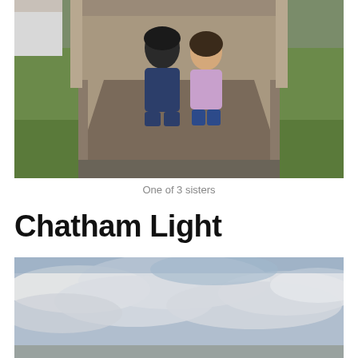[Figure (photo): Two people crouching in front of a wooden structure on a concrete path surrounded by grass. One person wears a black jacket and jeans, the other wears a light purple top and jeans.]
One of 3 sisters
Chatham Light
[Figure (photo): Cloudy sky with blue sky partially visible, taken outdoors, partial landscape at bottom.]